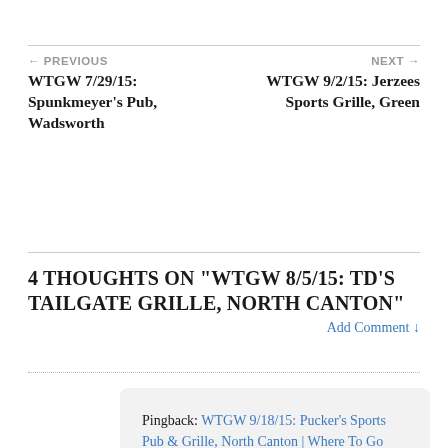← PREVIOUS
WTGW 7/29/15: Spunkmeyer's Pub, Wadsworth
NEXT →
WTGW 9/2/15: Jerzees Sports Grille, Green
4 THOUGHTS ON "WTGW 8/5/15: TD'S TAILGATE GRILLE, NORTH CANTON"
Add Comment ↓
Pingback: WTGW 9/18/15: Pucker's Sports Pub & Grille, North Canton | Where To Go